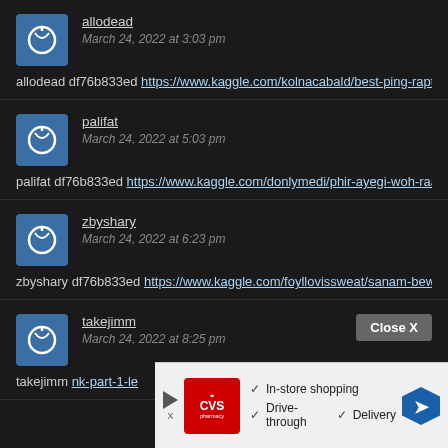allodead
March 24, 2022 at 3:03 pm
allodead df76b833ed https://www.kaggle.com/kolnacabald/best-ping-rapt
palifat
March 24, 2022 at 5:03 pm
palifat df76b833ed https://www.kaggle.com/donlymedi/phir-ayegi-woh-raa
zbyshary
March 24, 2022 at 6:23 pm
zbyshary df76b833ed https://www.kaggle.com/foyllovissweat/sanam-bew
takejimm
March 24, 2022 at 8:25 pm
takejimm ... nk-part-1-le
[Figure (other): CVS Pharmacy advertisement overlay showing in-store shopping, drive-through, and delivery options with a navigation/directions icon]